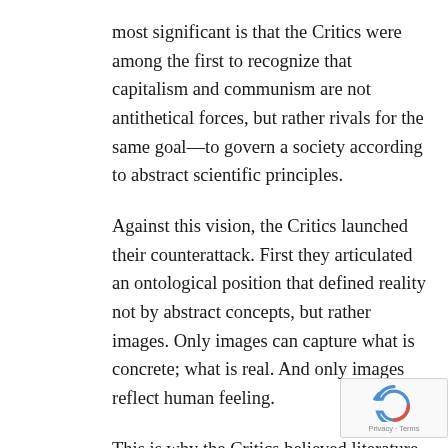most significant is that the Critics were among the first to recognize that capitalism and communism are not antithetical forces, but rather rivals for the same goal—to govern a society according to abstract scientific principles.
Against this vision, the Critics launched their counterattack. First they articulated an ontological position that defined reality not by abstract concepts, but rather images. Only images can capture what is concrete; what is real. And only images reflect human feeling.
This is why the Critics believed literature,